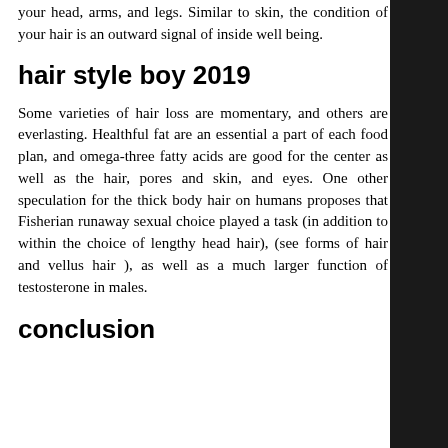your head, arms, and legs. Similar to skin, the condition of your hair is an outward signal of inside well being.
hair style boy 2019
Some varieties of hair loss are momentary, and others are everlasting. Healthful fat are an essential a part of each food plan, and omega-three fatty acids are good for the center as well as the hair, pores and skin, and eyes. One other speculation for the thick body hair on humans proposes that Fisherian runaway sexual choice played a task (in addition to within the choice of lengthy head hair), (see forms of hair and vellus hair ), as well as a much larger function of testosterone in males.
conclusion